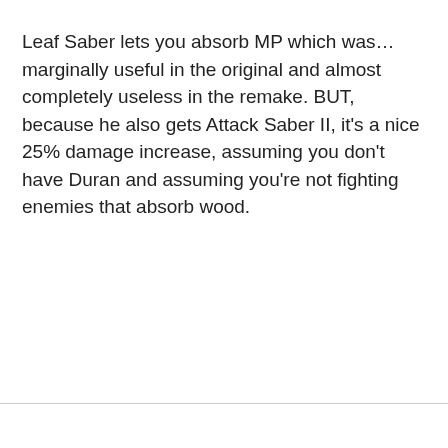Leaf Saber lets you absorb MP which was… marginally useful in the original and almost completely useless in the remake. BUT, because he also gets Attack Saber II, it's a nice 25% damage increase, assuming you don't have Duran and assuming you're not fighting enemies that absorb wood.